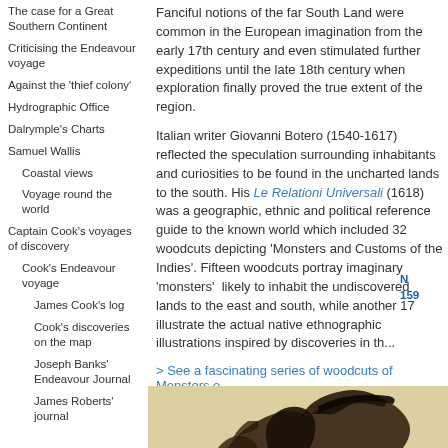The case for a Great Southern Continent
Criticising the Endeavour voyage
Against the 'thief colony'
Hydrographic Office
Dalrymple's Charts
Samuel Wallis
Coastal views
Voyage round the world
Captain Cook's voyages of discovery
Cook's Endeavour voyage
James Cook's log
Cook's discoveries on the map
Joseph Banks' Endeavour Journal
James Roberts' journal
Fanciful notions of the far South Land were common in the European imagination from the early 17th century and even stimulated further expeditions until the late 18th century when exploration finally proved the true extent of the region.
Italian writer Giovanni Botero (1540-1617) reflected the speculation surrounding inhabitants and curiosities to be found in the uncharted lands to the south. His Le Relationi Universali (1618) was a geographic, ethnic and political reference guide to the known world which included 32 woodcuts depicting 'Monsters and Customs of the Indies'. Fifteen woodcuts portray imaginary 'monsters' likely to inhabit the undiscovered lands to the east and south, while another 17 illustrate the actual native ethnographic illustrations inspired by discoveries in the...
> See a fascinating series of woodcuts of Monsters o...
[Figure (illustration): Historical illustration showing a dark winged or bird-like figure, appearing to be a woodcut or engraving]